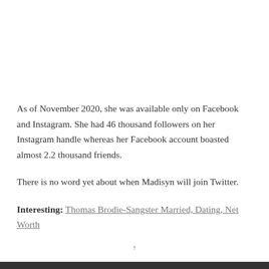As of November 2020, she was available only on Facebook and Instagram. She had 46 thousand followers on her Instagram handle whereas her Facebook account boasted almost 2.2 thousand friends.
There is no word yet about when Madisyn will join Twitter.
Interesting: Thomas Brodie-Sangster Married, Dating, Net Worth
↑